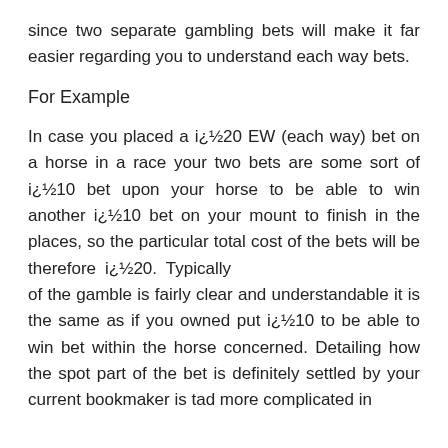since two separate gambling bets will make it far easier regarding you to understand each way bets.
For Example
In case you placed a i¿½20 EW (each way) bet on a horse in a race your two bets are some sort of i¿½10 bet upon your horse to be able to win another i¿½10 bet on your mount to finish in the places, so the particular total cost of the bets will be therefore i¿½20. Typically of the gamble is fairly clear and understandable it is the same as if you owned put i¿½10 to be able to win bet within the horse concerned. Detailing how the spot part of the bet is definitely settled by your current bookmaker is tad more complicated in